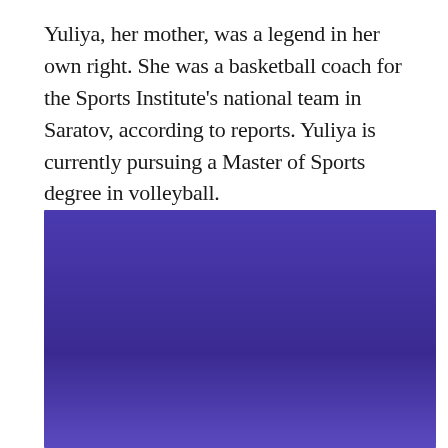Yuliya, her mother, was a legend in her own right. She was a basketball coach for the Sports Institute's national team in Saratov, according to reports. Yuliya is currently pursuing a Master of Sports degree in volleyball.
[Figure (photo): A young female tennis player with a blonde braid wearing a white Nike visor and dark tennis outfit, holding a tennis racket in a ready position. Background is a blue/purple court wall with partial text visible at bottom left.]